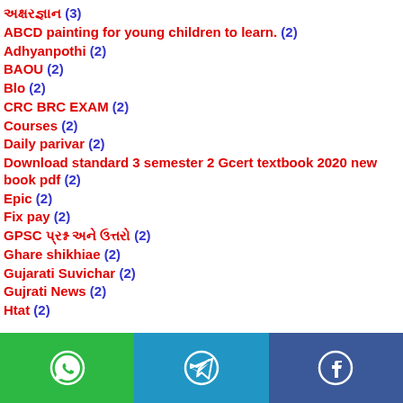અક્ષરજ્ઞાન (3)
ABCD painting for young children to learn. (2)
Adhyanpothi (2)
BAOU (2)
Blo (2)
CRC BRC EXAM (2)
Courses (2)
Daily parivar (2)
Download standard 3 semester 2 Gcert textbook 2020 new book pdf (2)
Epic (2)
Fix pay (2)
GPSC પ્રશ્ન અને ઉત્તરો (2)
Ghare shikhiae (2)
Gujarati Suvichar (2)
Gujrati News (2)
Htat (2)
WhatsApp | Telegram | Facebook